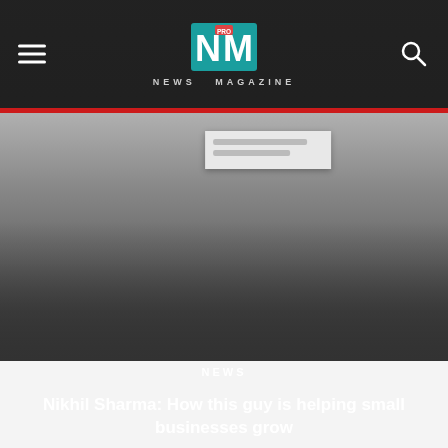NEWS MAGAZINE
[Figure (screenshot): Hero image area with gradient background representing a news article photograph, dark at the bottom to support overlay text]
NEWS
Nikhil Sharma: How this guy is helping small businesses grow